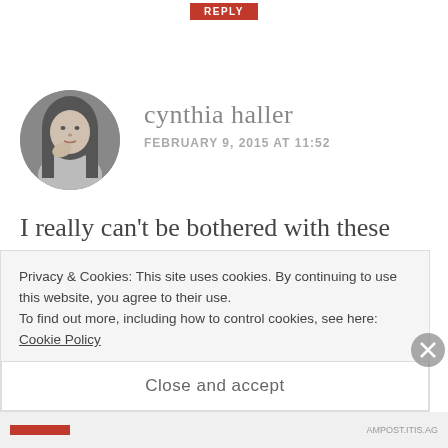[Figure (other): Red REPLY button at top center of page]
[Figure (photo): Circular avatar photo of Cynthia Haller, a woman with long hair in black and white]
cynthia haller
FEBRUARY 9, 2015 AT 11:52
I really can't be bothered with these things LOL. I wear Sindoor only when
Privacy & Cookies: This site uses cookies. By continuing to use this website, you agree to their use.
To find out more, including how to control cookies, see here: Cookie Policy
Close and accept